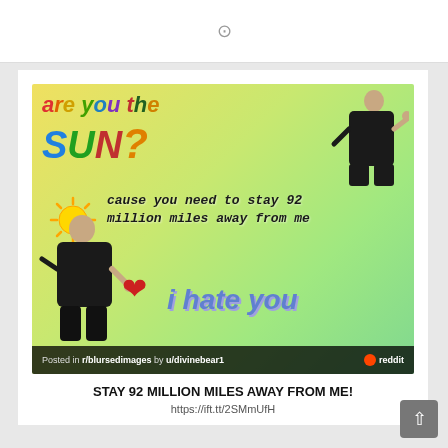[Figure (photo): Meme image on a yellow-green gradient background. Text reads 'are you the SUN?' at top left, 'cause you need to stay 92 million miles away from me' in the middle, 'i hate you' at bottom right, with a sun emoji icon, a red heart emoji, and two men in black suits pointing. Footer bar reads 'Posted in r/blursedimages by u/divinebear1' with Reddit logo.]
STAY 92 MILLION MILES AWAY FROM ME!
https://ift.tt/2SMmUfH